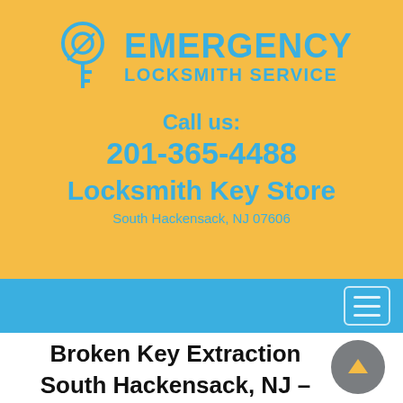[Figure (logo): Emergency Locksmith Service logo with key icon and teal text on gold background, phone number 201-365-4488, Locksmith Key Store, South Hackensack NJ 07606]
Broken Key Extraction South Hackensack, NJ – Locksmith Key Store